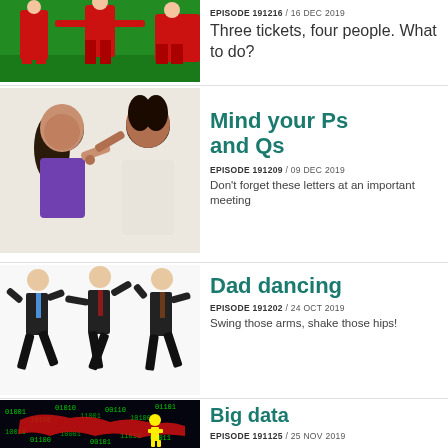[Figure (photo): Women in red sports uniforms on a green field, appearing to argue or gesture]
EPISODE 191216 / 16 DEC 2019
Three tickets, four people. What to do?
[Figure (photo): A young woman and an older woman facing each other, older woman pointing finger]
Mind your Ps and Qs
EPISODE 191209 / 09 DEC 2019
Don't forget these letters at an important meeting
[Figure (photo): Three men in black suits and ties dancing in an exaggerated style]
Dad dancing
EPISODE 191202 / 24 OCT 2019
Swing those arms, shake those hips!
[Figure (photo): Digital world map with red highlights and a yellow figure silhouette, big data concept]
Big data
EPISODE 191125 / 25 NOV 2019